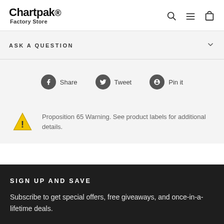Chartpak. Factory Store
ASK A QUESTION
Share  Tweet  Pin it
Proposition 65 Warning. See product labels for additional details.
SIGN UP AND SAVE
Subscribe to get special offers, free giveaways, and once-in-a-lifetime deals.